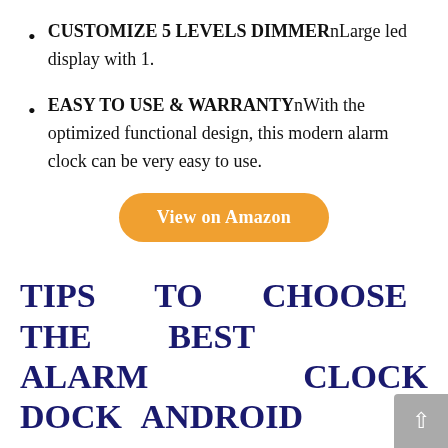CUSTOMIZE 5 LEVELS DIMMERnLarge led display with 1.
EASY TO USE & WARRANTYnWith the optimized functional design, this modern alarm clock can be very easy to use.
View on Amazon
TIPS TO CHOOSE THE BEST ALARM CLOCK DOCK ANDROID
One of the most difficult things about choosing the is determining what the best actually means. Is it the highest quality? The